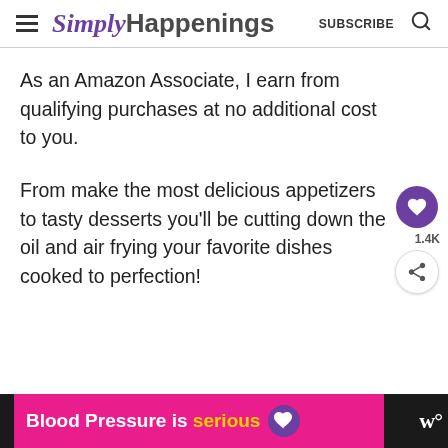SimplyHappenings SUBSCRIBE
As an Amazon Associate, I earn from qualifying purchases at no additional cost to you.
From make the most delicious appetizers to tasty desserts you'll be cutting down the oil and air frying your favorite dishes cooked to perfection!
[Figure (other): Advertisement banner: Blood Pressure is serious with a purple heart icon]